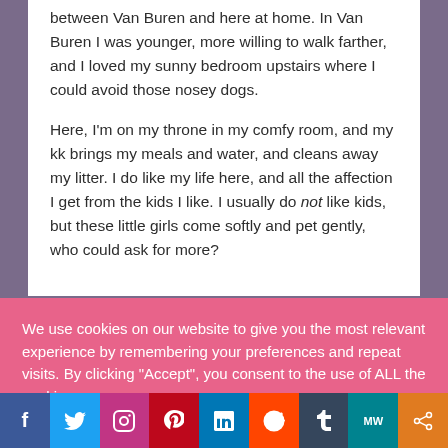between Van Buren and here at home. In Van Buren I was younger, more willing to walk farther, and I loved my sunny bedroom upstairs where I could avoid those nosey dogs.
Here, I'm on my throne in my comfy room, and my kk brings my meals and water, and cleans away my litter. I do like my life here, and all the affection I get from the kids I like. I usually do not like kids, but these little girls come softly and pet gently, who could ask for more?
We use cookies on our website to give you the most relevant experience by remembering your preferences and repeat visits. By clicking "Accept", you consent to the use of ALL the cookies.
Cookie settings
ACCEPT
f | Twitter | Instagram | Pinterest | in | Reddit | Tumblr | MW | Share